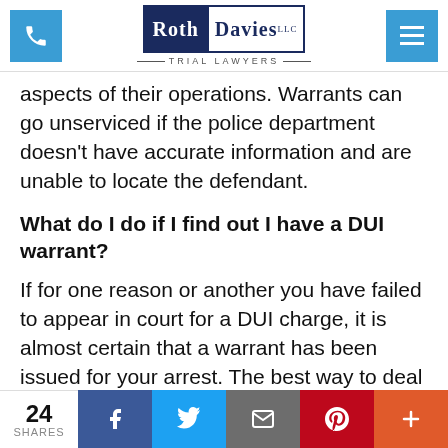Roth Davies LLC Trial Lawyers
aspects of their operations.  Warrants can go unserviced if the police department doesn't have accurate information and are unable to locate the defendant.
What do I do if I find out I have a DUI warrant?
If for one reason or another you have failed to appear in court for a DUI charge, it is almost certain that a warrant has been issued for your arrest. The best way to deal with it is to go to
24 SHARES